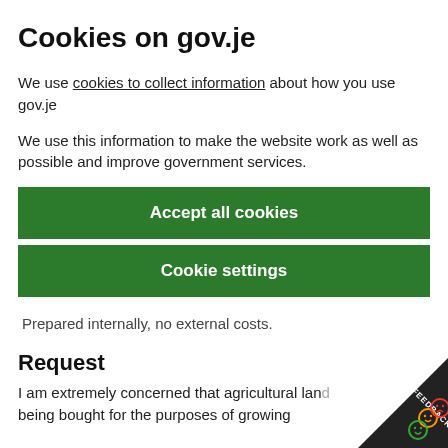Cookies on gov.je
We use cookies to collect information about how you use gov.je
We use this information to make the website work as well as possible and improve government services.
Accept all cookies
Cookie settings
Prepared internally, no external costs.
Request
I am extremely concerned that agricultural land being bought for the purposes of growing